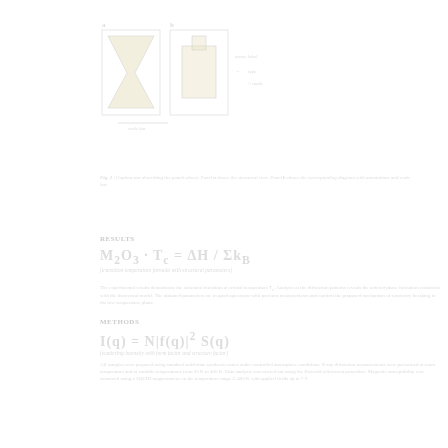[Figure (other): Two panel figure showing structural diagrams or molecular/crystallographic figures with labels and a scale bar]
Figure caption describing the structural or molecular diagrams shown above with scale bar and panel labels
RESULTS
Body text describing experimental results and observations related to the structural data shown in the figures above.
METHODS
Body text describing the methods used in the experiment including procedures and analytical techniques.